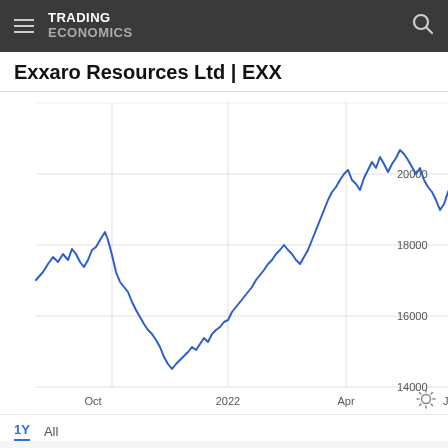TRADING ECONOMICS
Exxaro Resources Ltd | EXX
[Figure (continuous-plot): Line chart showing Exxaro Resources Ltd (EXX) stock price over 1 year from approximately Aug 2021 to Aug 2022. The price starts around 17000, rises to ~18000 in Sep, peaks near 18500 in Oct 2021, then falls sharply to around 15500 in Nov, continues declining to a trough of ~14200 in Jan 2022, then recovers strongly to ~19000 in Mar, peaks near 22000 in Apr-May 2022, pulls back to ~18500, then rises again to above 20000 in Jul-Aug 2022. Y-axis labels: 14000, 16000, 18000, 20000. X-axis labels: Oct, 2022, Apr, Jul.]
1Y  All